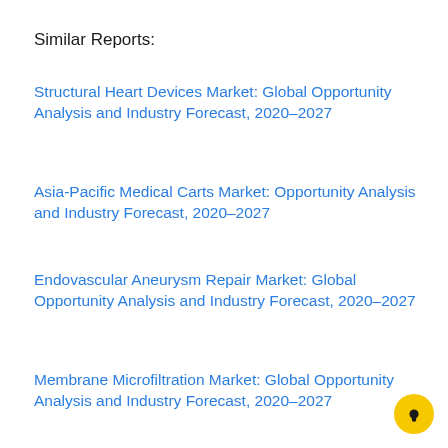Similar Reports:
Structural Heart Devices Market: Global Opportunity Analysis and Industry Forecast, 2020–2027
Asia-Pacific Medical Carts Market: Opportunity Analysis and Industry Forecast, 2020–2027
Endovascular Aneurysm Repair Market: Global Opportunity Analysis and Industry Forecast, 2020–2027
Membrane Microfiltration Market: Global Opportunity Analysis and Industry Forecast, 2020–2027